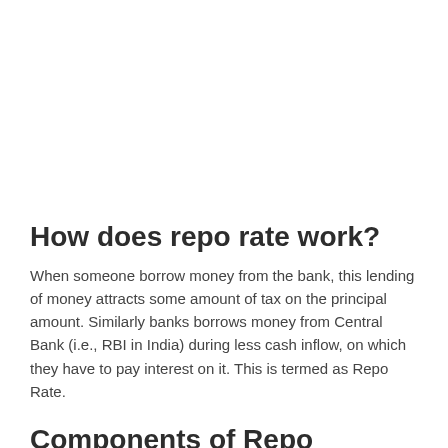How does repo rate work?
When someone borrow money from the bank, this lending of money attracts some amount of tax on the principal amount. Similarly banks borrows money from Central Bank (i.e., RBI in India) during less cash inflow, on which they have to pay interest on it. This is termed as Repo Rate.
Components of Repo transaction?
The components of repo rate transaction between